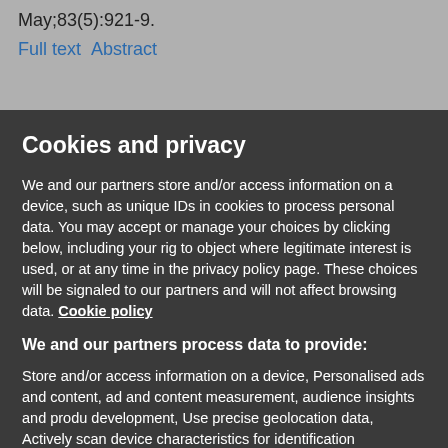May;83(5):921-9.
Full text  Abstract
Cookies and privacy
We and our partners store and/or access information on a device, such as unique IDs in cookies to process personal data. You may accept or manage your choices by clicking below, including your rig to object where legitimate interest is used, or at any time in the privacy policy page. These choices will be signaled to our partners and will not affect browsing data. Cookie policy
We and our partners process data to provide:
Store and/or access information on a device, Personalised ads and content, ad and content measurement, audience insights and produ development, Use precise geolocation data, Actively scan device characteristics for identification
List of Partners (vendors)
I Accept